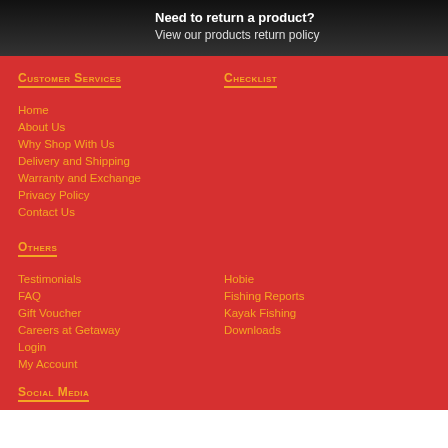Need to return a product?
View our products return policy
Customer Services
Checklist
Home
About Us
Why Shop With Us
Delivery and Shipping
Warranty and Exchange
Privacy Policy
Contact Us
Others
Testimonials
Hobie
FAQ
Fishing Reports
Gift Voucher
Kayak Fishing
Careers at Getaway
Downloads
Login
My Account
Social Media